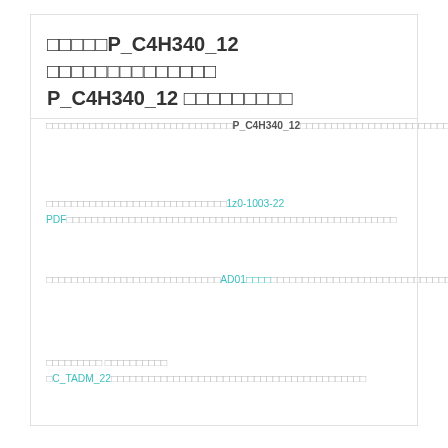試験番号P_C4H340_12 最新の問題集を取得して P_C4H340_12 資格試験に合格
最近、多くの人は、IT認定試験に合格するために、P_C4H340_12の問題集を選んでいます。問題を解答することが目的というわけではなく、試験に合格して、技術を習得して欲しいと思います。
弊社はいつまでも皆様の試験に合格させるために、1z0-1003-22 PDFと申し上げております。技術の発展によって、IT認定試験はだんだん重要になっています。
弊社のトレーニング製品を選択して、試験に合格するために、AD01勉強資料を提供します。お客様に最高の資格認定試験合格率を保証しながら、また、合格した後は、必ずキャリアアップできます。
試験問題集 問題と試験問題 をC_TADM_22問題集というは、お客様がより効果的に試験の準備をするために役立ちます。問題集は非常に使いやすいです。
SAP Related Exams
Related Posts
C-SACP-2208問題集
H19-381_V1.0問題
PD1-001問題集